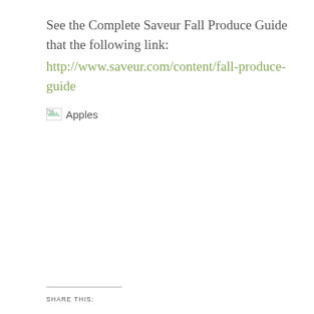See the Complete Saveur Fall Produce Guide that the following link: http://www.saveur.com/content/fall-produce-guide
[Figure (photo): Broken image placeholder with alt text 'Apples']
SHARE THIS: